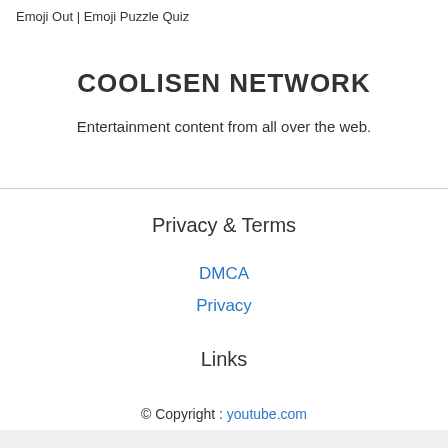Emoji Out | Emoji Puzzle Quiz
COOLISEN NETWORK
Entertainment content from all over the web.
Privacy & Terms
DMCA
Privacy
Links
© Copyright : youtube.com